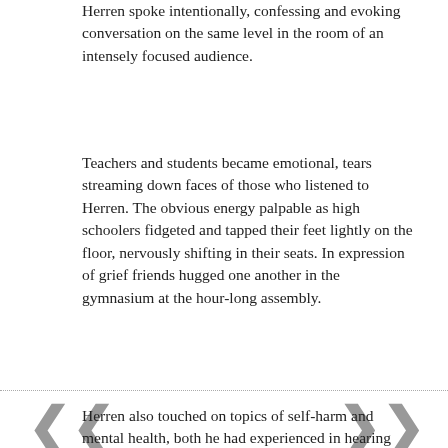Herren spoke intentionally, confessing and evoking conversation on the same level in the room of an intensely focused audience.
Teachers and students became emotional, tears streaming down faces of those who listened to Herren. The obvious energy palpable as high schoolers fidgeted and tapped their feet lightly on the floor, nervously shifting in their seats. In expression of grief friends hugged one another in the gymnasium at the hour-long assembly.
Herren also touched on topics of self-harm and mental health, both he had experienced in hearing from teens who reached out to him in the past and understood that addiction begins somewhere else first in most situations.
After falling time and time again, he said he realized after telling his own story that many  youngsters  had stories of their own — critical for healing to both the younger generation and himself.
Herren acknowledged that a conversation such as his is a